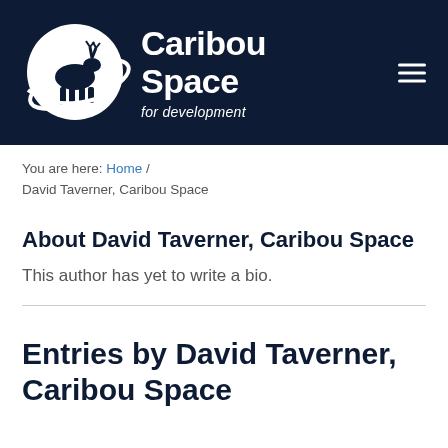[Figure (logo): Caribou Space for development logo — dark navy banner with a white circle containing a caribou/reindeer silhouette and orbital ring, bold white text reading 'Caribou Space' and italic 'for development' tagline, hamburger menu icon top right]
You are here: Home / David Taverner, Caribou Space
About David Taverner, Caribou Space
This author has yet to write a bio.
Entries by David Taverner, Caribou Space